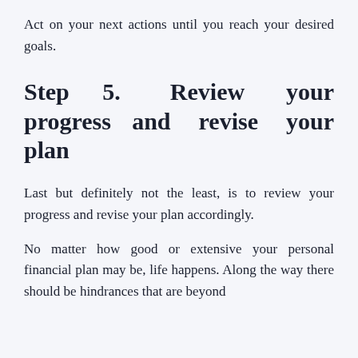Act on your next actions until you reach your desired goals.
Step 5. Review your progress and revise your plan
Last but definitely not the least, is to review your progress and revise your plan accordingly.
No matter how good or extensive your personal financial plan may be, life happens. Along the way there should be hindrances that are beyond